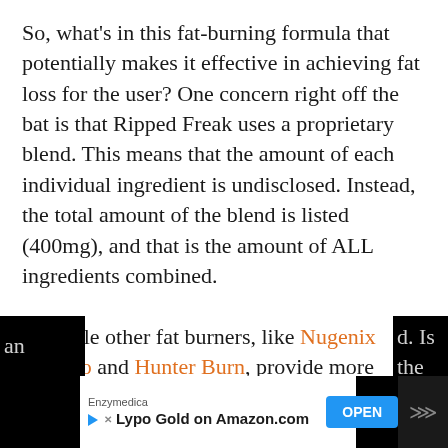So, what's in this fat-burning formula that potentially makes it effective in achieving fat loss for the user? One concern right off the bat is that Ripped Freak uses a proprietary blend. This means that the amount of each individual ingredient is undisclosed. Instead, the total amount of the blend is listed (400mg), and that is the amount of ALL ingredients combined.

So while other fat burners, like Nugenix Thermo and Hunter Burn, provide more transparent formulas, Ripped Freak's use of a proprietary blend makes it hard to know if you are receiving
[Figure (screenshot): Advertisement banner at the bottom of the page: black background on sides with white content area showing Enzymedica brand, 'Lypo Gold on Amazon.com' text with play icon, a blue OPEN button, and a dark panel on the right.]